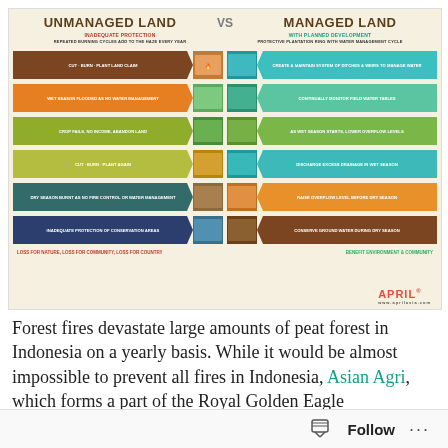[Figure (infographic): Infographic comparing Unmanaged Land (Inadequate Protection) vs Managed Land (With Planned Development). Left side shows cycle: Cut-Burn-Plant Land Claim, Wet Season Flooded As No Water Management, Crop Fails No Income Abandon Land, Cut-Burn-Plant Again, Dry Season Burnt As No Fire Control Or Water Management, Inadequate Protection Of Conservation Areas. Right side shows: Create & Maintain System Of Ditches & Weirs To Manage Water, Continually Monitor Field Water Tables, As Wet Season Starts Lower Overflow Levels, Discharge Excess Drainage In Wet Season, Raise Overflow Level Before Dry Season, Conserve Ground Water During Dry Season. Bottom: Loss for Nature Loss for Community Loss for Country vs Benefit Environment & Community. APRIL logo bottom right.]
Forest fires devastate large amounts of peat forest in Indonesia on a yearly basis. While it would be almost impossible to prevent all fires in Indonesia, Asian Agri, which forms a part of the Royal Golden Eagle
Follow ...